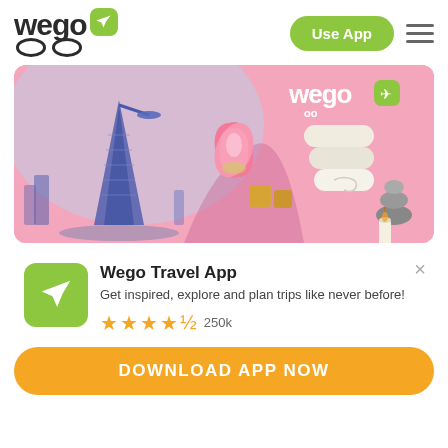wego [logo] | Use App [hamburger menu]
[Figure (illustration): Wego promotional banner on pink background showing Burj Al Arab (Dubai) on the left and spa/wellness items (lotus flower, rolled towels, stones, candle) on the right, with Wego logo in top right of banner]
Wego Travel App
Get inspired, explore and plan trips like never before!
★★★★½ 250k
DOWNLOAD APP NOW